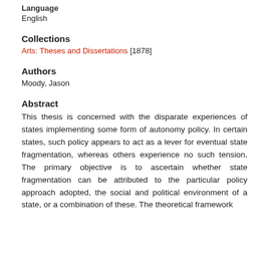Language
English
Collections
Arts: Theses and Dissertations [1878]
Authors
Moody, Jason
Abstract
This thesis is concerned with the disparate experiences of states implementing some form of autonomy policy. In certain states, such policy appears to act as a lever for eventual state fragmentation, whereas others experience no such tension. The primary objective is to ascertain whether state fragmentation can be attributed to the particular policy approach adopted, the social and political environment of a state, or a combination of these. The theoretical framework